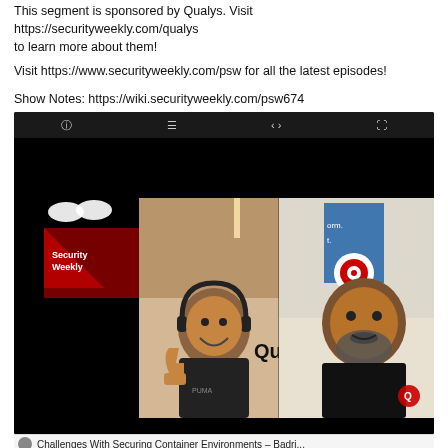This segment is sponsored by Qualys. Visit https://securityweekly.com/qualys to learn more about them!
Visit https://www.securityweekly.com/psw for all the latest episodes!
Show Notes: https://wiki.securityweekly.com/psw674
[Figure (screenshot): Video player screenshot showing a Security Weekly podcast video with two guests in a split screen. Left guest is a man wearing headphones giving a thumbs up with a Qualys logo visible. Right guest is a man with a beard in a dark shirt. Security Weekly branding is visible in the bottom left.]
Challenges With Securing Container Environments - Badri...